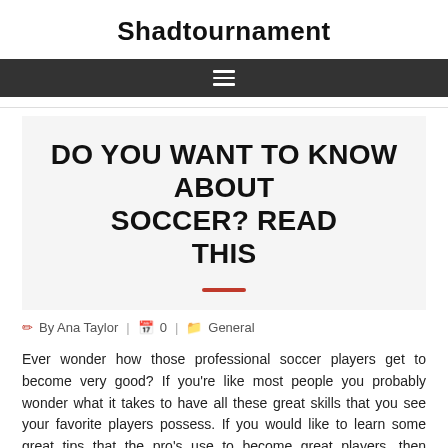Shadtournament
[Figure (other): Dark navigation bar with hamburger menu icon (three horizontal lines)]
DO YOU WANT TO KNOW ABOUT SOCCER? READ THIS
By Ana Taylor | 0 | General
Ever wonder how those professional soccer players get to become very good? If you're like most people you probably wonder what it takes to have all these great skills that you see your favorite players possess. If you would like to learn some great tips that the pro's use to become great players, then continue ahead to the following article.